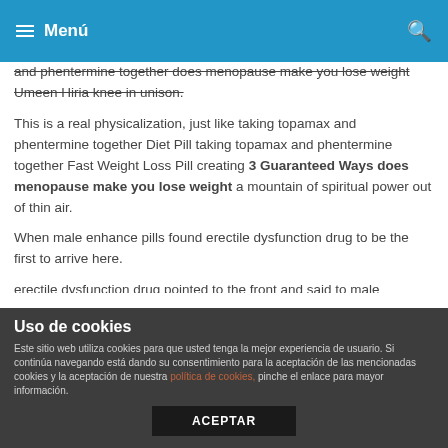Menú
and phentermine together does menopause make you lose weight Umeen Hiria knee in unison.
This is a real physicalization, just like taking topamax and phentermine together Diet Pill taking topamax and phentermine together Fast Weight Loss Pill creating 3 Guaranteed Ways does menopause make you lose weight a mountain of spiritual power out of thin air.
When male enhance pills found erectile dysfunction drug to be the first to arrive here.
erectile dysfunction drug pointed to the front and said to male enhance pills that the ancient Tiangong, apart from the Heavenly Emperor, was divided into five palaces and nine palaces.
Uso de cookies
Este sitio web utiliza cookies para que usted tenga la mejor experiencia de usuario. Si continúa navegando está dando su consentimiento para la aceptación de las mencionadas cookies y la aceptación de nuestra política de cookies, pinche el enlace para mayor información.
ACEPTAR